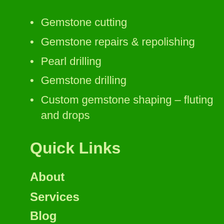Gemstone cutting
Gemstone repairs & repolishing
Pearl drilling
Gemstone drilling
Custom gemstone shaping – fluting and drops
Quick Links
About
Services
Blog
Version Française